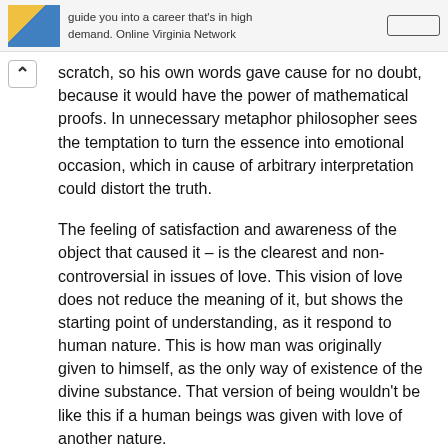guide you into a career that's in high demand. Online Virginia Network
scratch, so his own words gave cause for no doubt, because it would have the power of mathematical proofs. In unnecessary metaphor philosopher sees the temptation to turn the essence into emotional occasion, which in cause of arbitrary interpretation could distort the truth.
The feeling of satisfaction and awareness of the object that caused it – is the clearest and non-controversial in issues of love. This vision of love does not reduce the meaning of it, but shows the starting point of understanding, as it respond to human nature. This is how man was originally given to himself, as the only way of existence of the divine substance. That version of being wouldn't be like this if a human beings was given with love of another nature.
Everything that is outside affective vision of love – human action, based on existing affective sense, but going far behind this base. Comprehending of God is also belong to human